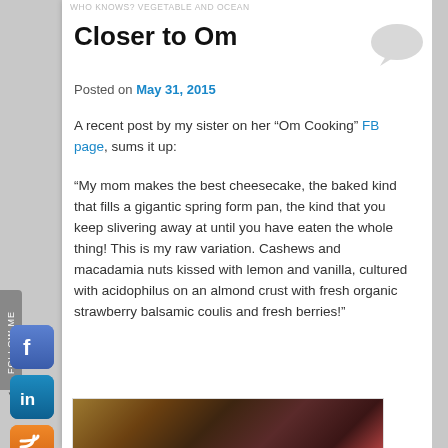WHO KNOWS? VEGETABLE AND OCEAN
Closer to Om
Posted on May 31, 2015
A recent post by my sister on her “Om Cooking” FB page, sums it up:
“My mom makes the best cheesecake, the baked kind that fills a gigantic spring form pan, the kind that you keep slivering away at until you have eaten the whole thing! This is my raw variation. Cashews and macadamia nuts kissed with lemon and vanilla, cultured with acidophilus on an almond crust with fresh organic strawberry balsamic coulis and fresh berries!”
[Figure (photo): Photo of a cheesecake dish, brownish tones, partially visible]